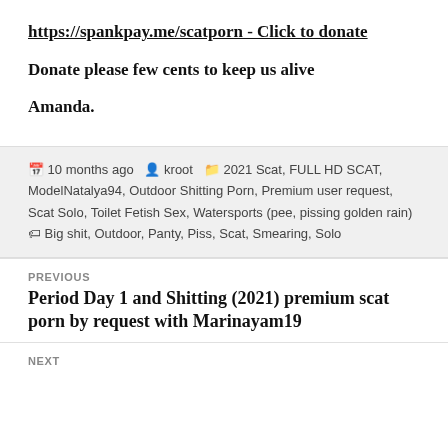https://spankpay.me/scatporn - Click to donate
Donate please few cents to keep us alive
Amanda.
10 months ago   kroot   2021 Scat, FULL HD SCAT, ModelNatalya94, Outdoor Shitting Porn, Premium user request, Scat Solo, Toilet Fetish Sex, Watersports (pee, pissing golden rain)   Big shit, Outdoor, Panty, Piss, Scat, Smearing, Solo
PREVIOUS
Period Day 1 and Shitting (2021) premium scat porn by request with Marinayam19
NEXT